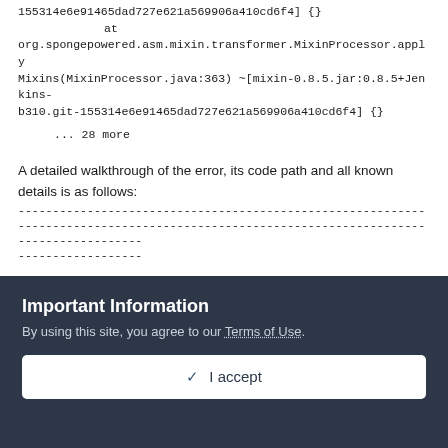155314e6e91465dad727e621a569906a410cd6f4] {}
    at
org.spongepowered.asm.mixin.transformer.MixinProcessor.applyMixins(MixinProcessor.java:363) ~[mixin-0.8.5.jar:0.8.5+Jenkins-b310.git-155314e6e91465dad727e621a569906a410cd6f4] {}
... 28 more
A detailed walkthrough of the error, its code path and all known details is as follows:
----------------------------------------------------------------------------------------------------------------------------------------
-- Head --
Thread: Render thread
Stacktrace:
    at
Important Information
By using this site, you agree to our Terms of Use.
✓ I accept